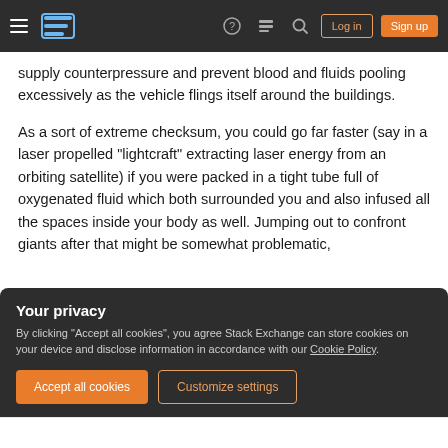Stack Exchange navigation bar with hamburger menu, logo, help, chat, search icons, Log in and Sign up buttons
supply counterpressure and prevent blood and fluids pooling excessively as the vehicle flings itself around the buildings.
As a sort of extreme checksum, you could go far faster (say in a laser propelled "lightcraft" extracting laser energy from an orbiting satellite) if you were packed in a tight tube full of oxygenated fluid which both surrounded you and also infused all the spaces inside your body as well. Jumping out to confront giants after that might be somewhat problematic,
Your privacy
By clicking "Accept all cookies", you agree Stack Exchange can store cookies on your device and disclose information in accordance with our Cookie Policy.
Accept all cookies
Customize settings